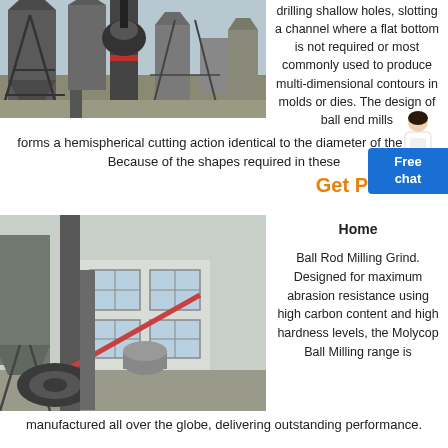[Figure (photo): Industrial milling equipment outdoors with steel structures, silos and machinery against a light sky.]
drilling shallow holes, slotting a channel where a flat bottom is not required or most commonly used to produce multi-dimensional contours in molds or dies. The design of ball end mills forms a hemispherical cutting action identical to the diameter of the tool. Because of the shapes required in these
Get P
[Figure (photo): Industrial milling equipment indoors with large cylindrical tanks, piping and machinery in a warehouse setting with windows.]
Home
Ball Rod Milling Grind. Designed for maximum abrasion resistance using high carbon content and high hardness levels, the Molycop Ball Milling range is manufactured all over the globe, delivering outstanding performance.